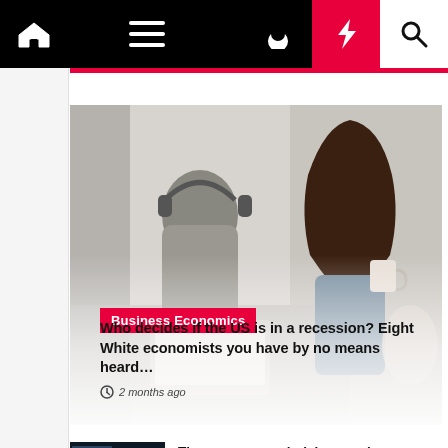Navigation bar with home, menu, dark mode, lightning/breaking news, and search icons
[Figure (photo): Two women in a café setting; one wearing headphones looking at a laptop, one holding a coffee cup looking at her phone. Background is bright with windows.]
Business Economics
Who decides if the US is in a recession? Eight White economists you have by no means heard…
2 months ago
[Figure (screenshot): Dark thumbnail image showing a financial chart/graph with blue line on dark background]
The one-year underlying earnings progress at Zoom…